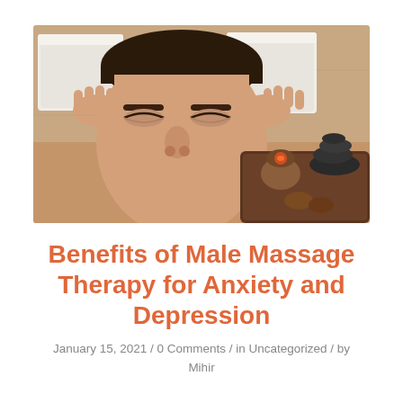[Figure (photo): Man lying down receiving a head massage at a spa, with white towels and massage stones visible in the background on a wooden tray]
Benefits of Male Massage Therapy for Anxiety and Depression
January 15, 2021 / 0 Comments / in Uncategorized / by Mihir